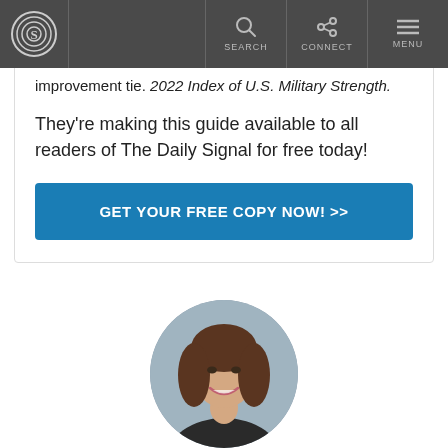The Daily Signal - SEARCH CONNECT MENU
improvement tie. 2022 Index of U.S. Military Strength.
They're making this guide available to all readers of The Daily Signal for free today!
GET YOUR FREE COPY NOW! >>
[Figure (photo): Circular headshot portrait of a young woman with dark brown hair, smiling, wearing a dark top, against a light gray background.]